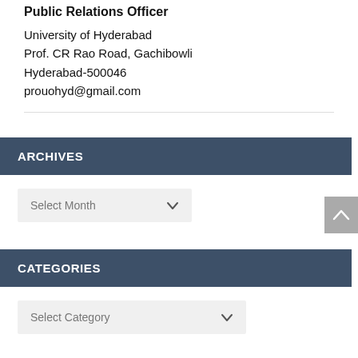Public Relations Officer
University of Hyderabad
Prof. CR Rao Road, Gachibowli
Hyderabad-500046
prouohyd@gmail.com
ARCHIVES
Select Month
CATEGORIES
Select Category